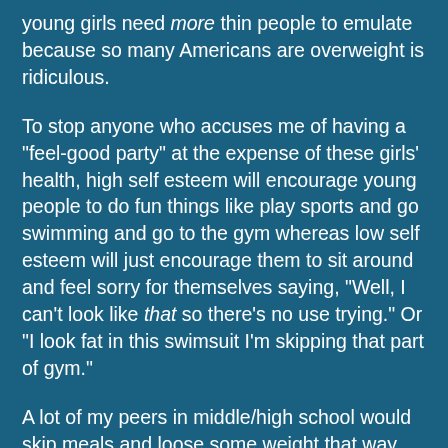young girls need more thin people to emulate because so many Americans are overweight is ridiculous.
To stop anyone who accuses me of having a "feel-good party" at the expense of these girls' health, high self esteem will encourage young people to do fun things like play sports and go swimming and go to the gym whereas low self esteem will just encourage them to sit around and feel sorry for themselves saying, "Well, I can't look like that so there's no use trying." Or "I look fat in this swimsuit I'm skipping that part of gym."
A lot of my peers in middle/high school would skip meals and loose some weight that way, but then start yoyoing back and forth the other way because they couldn't keep that level of weight loss up and didn't understand how to shoot for a healthy in-between. I knew of a few girls involved in the "pro-ana" movement and I hope people understand